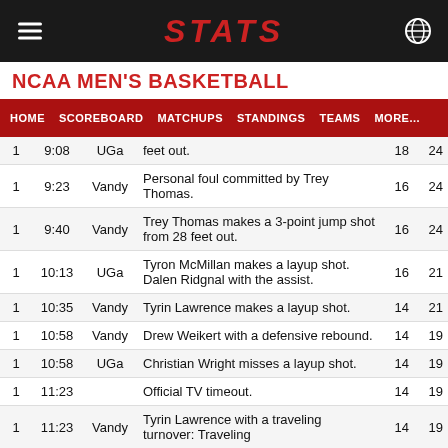STATS
NCAA MEN'S BASKETBALL
HOME  SCOREBOARD  MATCHUPS  STANDINGS  TEAMS  MORE...
|  |  |  |  |  |  |
| --- | --- | --- | --- | --- | --- |
| 1 | 9:08 | UGa | feet out. | 18 | 24 |
| 1 | 9:23 | Vandy | Personal foul committed by Trey Thomas. | 16 | 24 |
| 1 | 9:40 | Vandy | Trey Thomas makes a 3-point jump shot from 28 feet out. | 16 | 24 |
| 1 | 10:13 | UGa | Tyron McMillan makes a layup shot. Dalen Ridgnal with the assist. | 16 | 21 |
| 1 | 10:35 | Vandy | Tyrin Lawrence makes a layup shot. | 14 | 21 |
| 1 | 10:58 | Vandy | Drew Weikert with a defensive rebound. | 14 | 19 |
| 1 | 10:58 | UGa | Christian Wright misses a layup shot. | 14 | 19 |
| 1 | 11:23 |  | Official TV timeout. | 14 | 19 |
| 1 | 11:23 | Vandy | Tyrin Lawrence with a traveling turnover: Traveling | 14 | 19 |
| 1 | 11:41 | UGa | Dalen Ridgnal makes a layup shot. Noah | 14 | 19 |